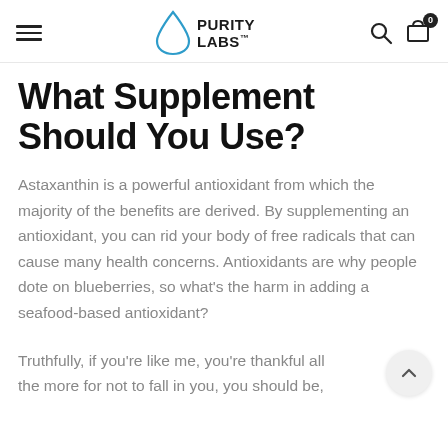PURITY LABS™ — navigation header with hamburger menu, logo, search and cart icons
What Supplement Should You Use?
Astaxanthin is a powerful antioxidant from which the majority of the benefits are derived. By supplementing an antioxidant, you can rid your body of free radicals that can cause many health concerns. Antioxidants are why people dote on blueberries, so what's the harm in adding a seafood-based antioxidant?
Truthfully, if you're like me, you're thankful all the more for not to fall in you, you should be,